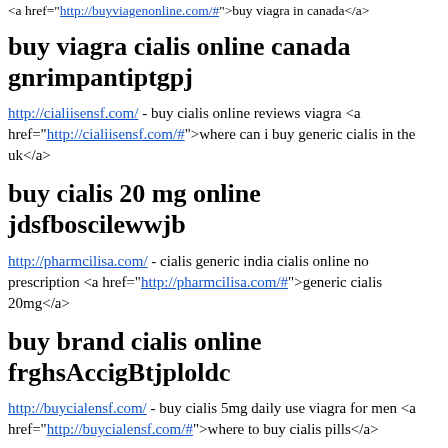<a href="http://buyviagenonline.com/#">buy viagra in canada</a>
buy viagra cialis online canada gnrimpantiptgpj
http://cialiisensf.com/ - buy cialis online reviews viagra <a href="http://cialiisensf.com/#">where can i buy generic cialis in the uk</a>
buy cialis 20 mg online jdsfboscilewwjb
http://pharmcilisa.com/ - cialis generic india cialis online no prescription <a href="http://pharmcilisa.com/#">generic cialis 20mg</a>
buy brand cialis online frghsAccigBtjploldc
http://buycialensf.com/ - buy cialis 5mg daily use viagra for men <a href="http://buycialensf.com/#">where to buy cialis pills</a>
viagra and cialis online dyrfhstarcebyx